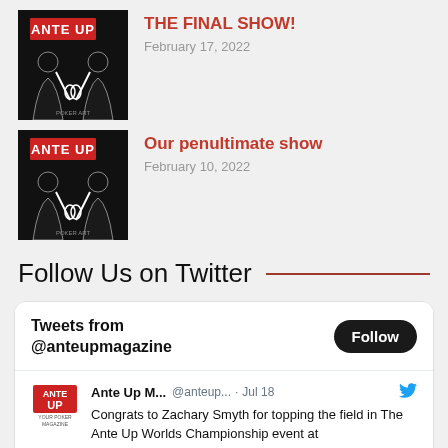THE FINAL SHOW! — February 17, 2022
Our penultimate show — February 10, 2022
Follow Us on Twitter
[Figure (screenshot): Twitter widget showing 'Tweets from @anteupmagazine' with a Follow button and a tweet from Ante Up M... @anteup... · Jul 18 reading: Congrats to Zachary Smyth for topping the field in The Ante Up Worlds Championship event at @TVPokerRoom at @Thunder_Valley! anteupmagazine.com/2022/07/18/zac...]